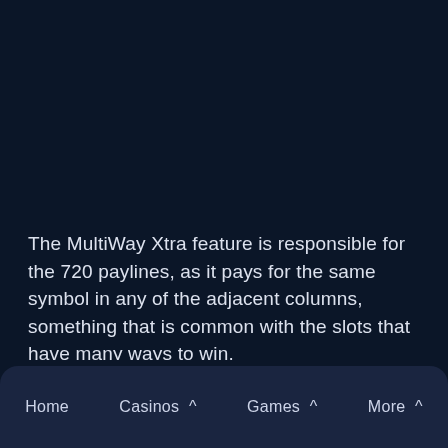The MultiWay Xtra feature is responsible for the 720 paylines, as it pays for the same symbol in any of the adjacent columns, something that is common with the slots that have many ways to win.
Those wins will come from the regular symbols which stick with the wintry theme. The backdrop to the slot sets the freezing temperature and the white
Home    Casinos ^    Games ^    More ^